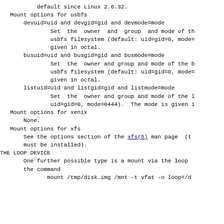default since Linux 2.6.32.
Mount options for usbfs
devuid=uid and devgid=gid and devmode=mode
        Set  the  owner  and  group  and mode of th
        usbfs filesystem (default: uid=gid=0, mode=
        given in octal.
busuid=uid and busgid=gid and busmode=mode
        Set  the  owner and group and mode of the b
        usbfs filesystem (default: uid=gid=0, mode=
        given in octal.
listuid=uid and listgid=gid and listmode=mode
        Set  the  owner and group and mode of the l
        uid=gid=0, mode=0444).  The mode is given i
Mount options for xenix
    None.
Mount options for xfs
    See the options section of the xfs(5) man page  (t
    must be installed).
THE LOOP DEVICE
One further possible type is a mount via the loop
    the command
mount /tmp/disk.img /mnt -t vfat -o loop=/d